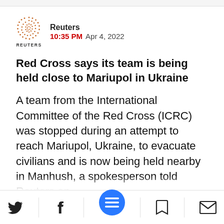[Figure (logo): Reuters logo: dotted circle above the word REUTERS, with publisher name 'Reuters' and timestamp '10:35 PM Apr 4, 2022']
Red Cross says its team is being held close to Mariupol in Ukraine
A team from the International Committee of the Red Cross (ICRC) was stopped during an attempt to reach Mariupol, Ukraine, to evacuate civilians and is now being held nearby in Manhush, a spokesperson told Reuters on
[Figure (infographic): Bottom navigation bar with Twitter bird icon, Facebook f icon, blue circle hamburger menu button, bookmark icon, and mail/envelope icon]